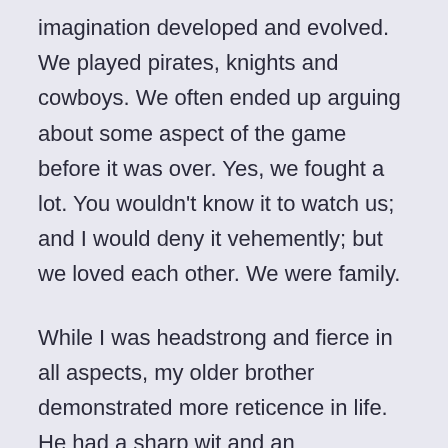imagination developed and evolved. We played pirates, knights and cowboys. We often ended up arguing about some aspect of the game before it was over. Yes, we fought a lot. You wouldn't know it to watch us; and I would deny it vehemently; but we loved each other. We were family.
While I was headstrong and fierce in all aspects, my older brother demonstrated more reticence in life. He had a sharp wit and an imagination that came out as he got to know you. But we were very different.
I screamed “I am here world” with my actions